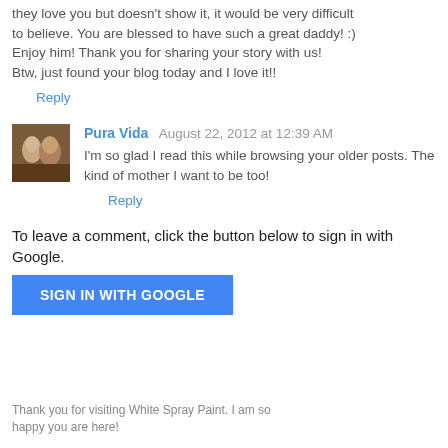they love you but doesn't show it, it would be very difficult to believe. You are blessed to have such a great daddy! :) Enjoy him! Thank you for sharing your story with us! Btw, just found your blog today and I love it!!
Reply
Pura Vida  August 22, 2012 at 12:39 AM
I'm so glad I read this while browsing your older posts. The kind of mother I want to be too!
Reply
To leave a comment, click the button below to sign in with Google.
[Figure (other): SIGN IN WITH GOOGLE button - blue rectangle with white uppercase text]
Thank you for visiting White Spray Paint. I am so happy you are here!